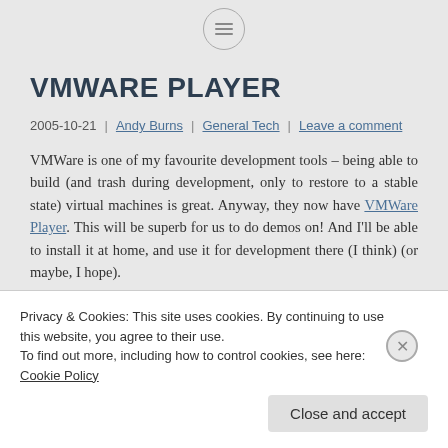[Figure (other): Hamburger/menu icon inside a circle at top center of page]
VMWARE PLAYER
2005-10-21 | Andy Burns | General Tech | Leave a comment
VMWare is one of my favourite development tools – being able to build (and trash during development, only to restore to a stable state) virtual machines is great. Anyway, they now have VMWare Player. This will be superb for us to do demos on! And I'll be able to install it at home, and use it for development there (I think) (or maybe, I hope).
Privacy & Cookies: This site uses cookies. By continuing to use this website, you agree to their use.
To find out more, including how to control cookies, see here: Cookie Policy
Close and accept